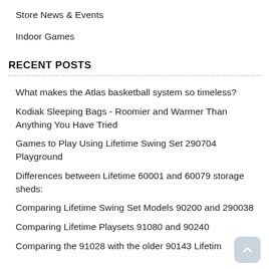Store News & Events
Indoor Games
RECENT POSTS
What makes the Atlas basketball system so timeless?
Kodiak Sleeping Bags - Roomier and Warmer Than Anything You Have Tried
Games to Play Using Lifetime Swing Set 290704 Playground
Differences between Lifetime 60001 and 60079 storage sheds:
Comparing Lifetime Swing Set Models 90200 and 290038
Comparing Lifetime Playsets 91080 and 90240
Comparing the 91028 with the older 90143 Lifetim